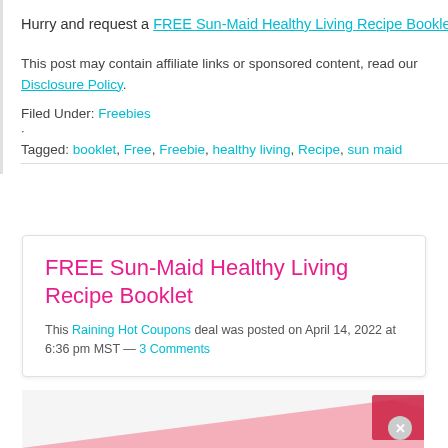Hurry and request a FREE Sun-Maid Healthy Living Recipe Booklet!
This post may contain affiliate links or sponsored content, read our Disclosure Policy.
Filed Under: Freebies
Tagged: booklet, Free, Freebie, healthy living, Recipe, sun maid
FREE Sun-Maid Healthy Living Recipe Booklet
This Raining Hot Coupons deal was posted on April 14, 2022 at 6:36 pm MST — 3 Comments
[Figure (other): Pink decorative shape at bottom of page with a close button]